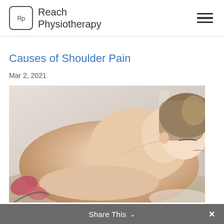Reach Physiotherapy
Causes of Shoulder Pain
Mar 2, 2021
[Figure (photo): Woman lying face down on massage table, relaxed, with eyes closed, back and shoulder visible, soft-focus spa setting]
Share This